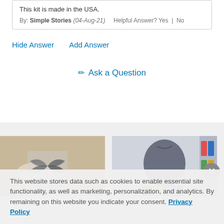This kit is made in the USA.
By: Simple Stories (04-Aug-21)   Helpful Answer? Yes | No
Hide Answer    Add Answer
✏ Ask a Question
[Figure (photo): Photo of hands holding a clear stamp with a butterfly design pressed on paper]
[Figure (photo): Photo of a person in a gray cardigan seated at a table with colorful crafting supplies]
This website stores data such as cookies to enable essential site functionality, as well as marketing, personalization, and analytics. By remaining on this website you indicate your consent. Privacy Policy